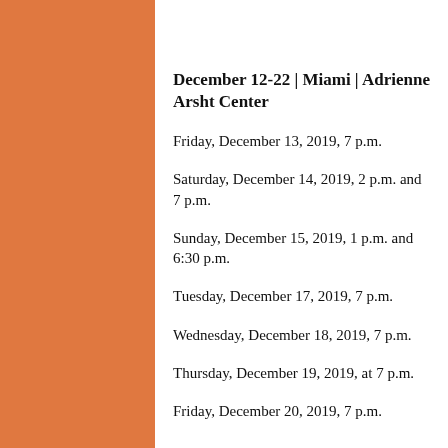E SCHEDULE:
December 12-22 | Miami | Adrienne Arsht Center
Friday, December 13, 2019, 7 p.m.
Saturday, December 14, 2019, 2 p.m. and 7 p.m.
Sunday, December 15, 2019, 1 p.m. and 6:30 p.m.
Tuesday, December 17, 2019, 7 p.m.
Wednesday, December 18, 2019, 7 p.m.
Thursday, December 19, 2019, at 7 p.m.
Friday, December 20, 2019, 7 p.m.